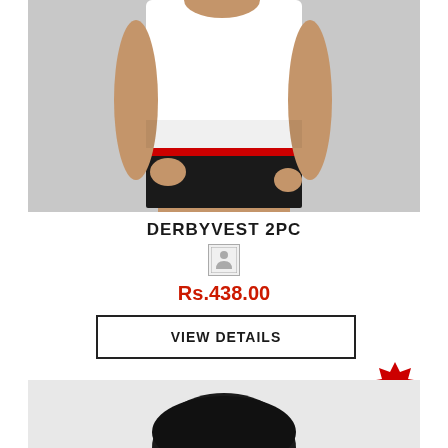[Figure (photo): Male model wearing a white vest/tank top and black briefs with red waistband, shown from neck to thighs]
DERBYVEST 2PC
[Figure (illustration): Small icon placeholder with a person/clothing symbol inside a light grey bordered square]
Rs.438.00
VIEW DETAILS
[Figure (illustration): Red starburst badge with white text reading 'Value Pack']
[Figure (photo): Partial view of a second product — top of a dark-haired person's head visible at bottom of page]